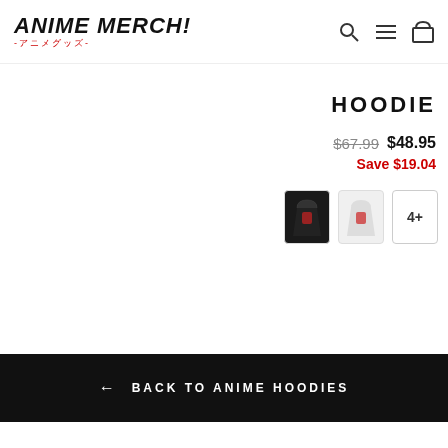ANIME MERCH! -アニメグッズ-
HOODIE
$67.99  $48.95
Save $19.04
[Figure (photo): Two hoodie color swatches (black and white/grey) plus a 4+ more indicator button]
← BACK TO ANIME HOODIES